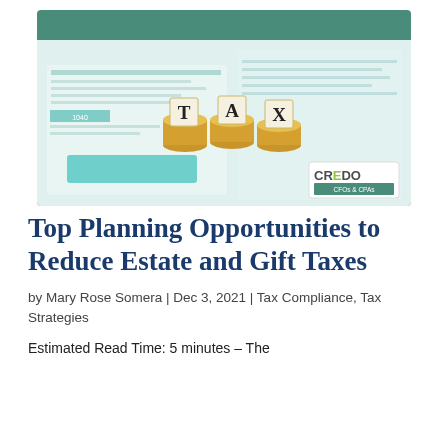[Figure (photo): Photo of tax forms, gold coins stacked with letter tiles spelling TAX on them, and a CREDO CFOs & CPAs logo in the bottom right corner. Background is a teal/green color with white paper documents.]
Top Planning Opportunities to Reduce Estate and Gift Taxes
by Mary Rose Somera | Dec 3, 2021 | Tax Compliance, Tax Strategies
Estimated Read Time: 5 minutes – The